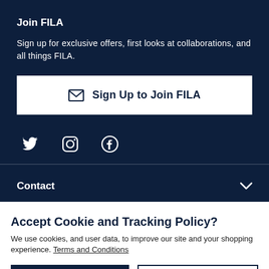Join FILA
Sign up for exclusive offers, first looks at collaborations, and all things FILA.
Sign Up to Join FILA
[Figure (illustration): Social media icons: Twitter bird, Instagram camera, Facebook logo]
Contact
Accept Cookie and Tracking Policy?
We use cookies, and user data, to improve our site and your shopping experience. Terms and Conditions
ACCEPT
DECLINE